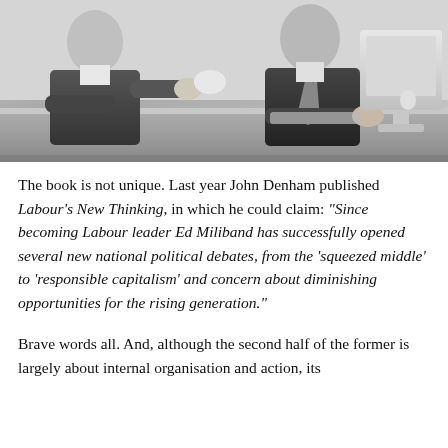[Figure (photo): Black and white photograph of two men in suits at a desk with a computer monitor, appearing to be in a business meeting or discussion]
The book is not unique. Last year John Denham published Labour's New Thinking, in which he could claim: “Since becoming Labour leader Ed Miliband has successfully opened several new national political debates, from the ‘squeezed middle’ to ‘responsible capitalism’ and concern about diminishing opportunities for the rising generation.”
Brave words all. And, although the second half of the former is largely about internal organisation and action, its first half is an argument about informing and telling...